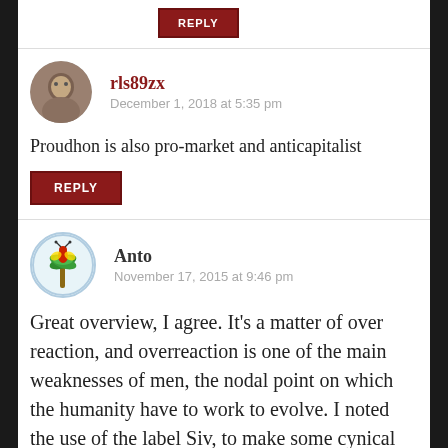[Figure (other): Reply button at top of page]
[Figure (photo): Avatar photo of user rls89zx - circular profile photo]
rls89zx
December 1, 2018 at 5:35 pm
Proudhon is also pro-market and anticapitalist
[Figure (other): Reply button below rls89zx comment]
[Figure (illustration): Avatar illustration of user Anto - circular illustration with palm tree and bug figure on light blue background]
Anto
November 17, 2015 at 9:46 pm
Great overview, I agree. It’s a matter of over reaction, and overreaction is one of the main weaknesses of men, the nodal point on which the humanity have to work to evolve. I noted the use of the label Siv, to make some cynical